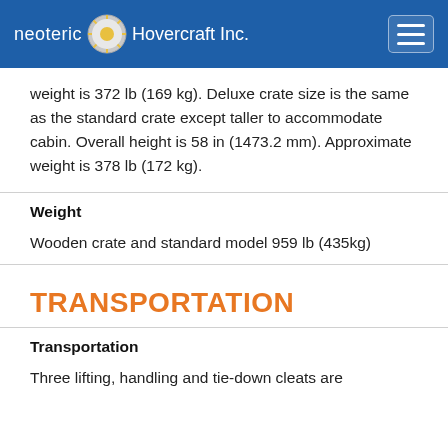Neoteric Hovercraft Inc.
weight is 372 lb (169 kg). Deluxe crate size is the same as the standard crate except taller to accommodate cabin. Overall height is 58 in (1473.2 mm). Approximate weight is 378 lb (172 kg).
Weight
Wooden crate and standard model 959 lb (435kg)
TRANSPORTATION
Transportation
Three lifting, handling and tie-down cleats are